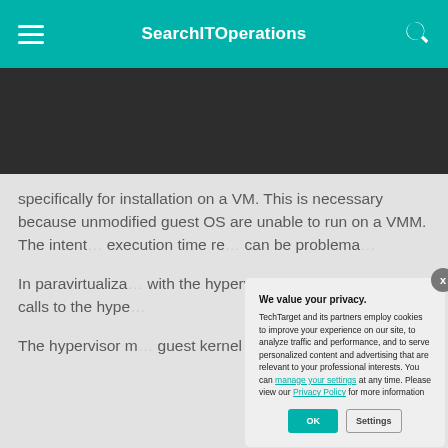SearchITOperations
[Figure (screenshot): Dark banner/advertisement area]
specifically for installation on a VM. This is necessary because unmodified guest OS are unable to run on a VMM. The intent... execution time re... can be problema...
In paravirtualiza... with the hypervis... operations that c... calls to the hype...
The hypervisor m... guest kernel and... can be used to d...
[Figure (screenshot): Privacy consent modal dialog with title 'We value your privacy.' explaining TechTarget cookie usage, links to manage settings and Privacy Policy, with OK and Settings buttons.]